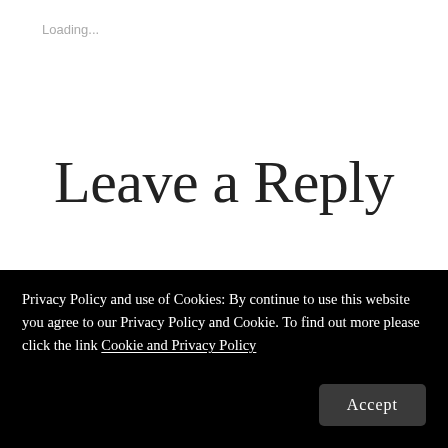Loading...
Leave a Reply
Your email address will not be published.
Required fields are marked *
Privacy Policy and use of Cookies: By continue to use this website you agree to our Privacy Policy and Cookie. To find out more please click the link Cookie and Privacy Policy
Accept